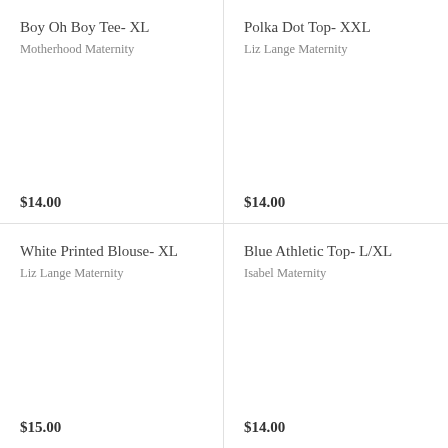Boy Oh Boy Tee- XL
Motherhood Maternity
$14.00
Polka Dot Top- XXL
Liz Lange Maternity
$14.00
White Printed Blouse- XL
Liz Lange Maternity
$15.00
Blue Athletic Top- L/XL
Isabel Maternity
$14.00